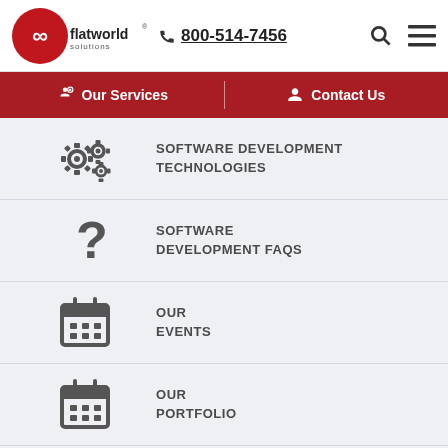[Figure (logo): Flatworld Solutions logo with infinity symbol in red circle and phone number 800-514-7456]
Our Services | Contact Us
SOFTWARE DEVELOPMENT TECHNOLOGIES
SOFTWARE DEVELOPMENT FAQS
OUR EVENTS
OUR PORTFOLIO
SOFTWARE DEVELOPMENT